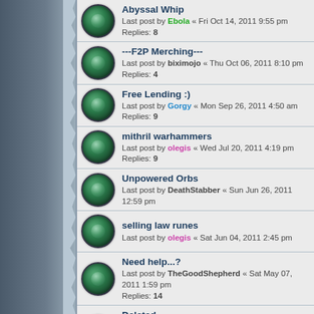Abyssal Whip — Last post by Ebola « Fri Oct 14, 2011 9:55 pm — Replies: 8
---F2P Merching--- — Last post by biximojo « Thu Oct 06, 2011 8:10 pm — Replies: 4
Free Lending :) — Last post by Gorgy « Mon Sep 26, 2011 4:50 am — Replies: 9
mithril warhammers — Last post by olegis « Wed Jul 20, 2011 4:19 pm — Replies: 9
Unpowered Orbs — Last post by DeathStabber « Sun Jun 26, 2011 12:59 pm
selling law runes — Last post by olegis « Sat Jun 04, 2011 2:45 pm
Need help...? — Last post by TheGoodShepherd « Sat May 07, 2011 1:59 pm — Replies: 14
Deleted — Last post by Fallenangels « Wed Mar 30, 2011 11:10 am — Replies: 7
Selling swordies. — Last post by HighPenguin « Tue Mar 22, 2011 4:46 am — Replies: 4
Bunvip pouches